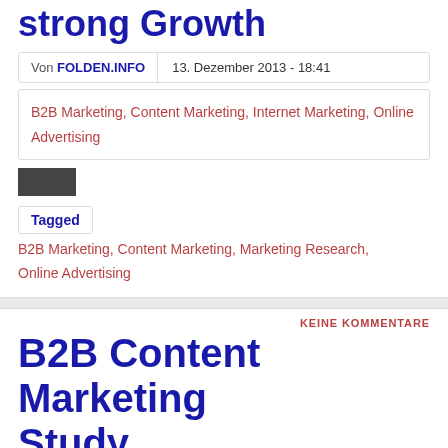Strong Growth
Von FOLDEN.INFO | 13. Dezember 2013 - 18:41
B2B Marketing, Content Marketing, Internet Marketing, Online Advertising
[Figure (other): Redacted/blacked-out bar image]
Tagged B2B Marketing, Content Marketing, Marketing Research, Online Advertising
KEINE KOMMENTARE
B2B Content Marketing Study
Von FOLDEN.INFO | 21. November 2013 - 16:03
B2B Marketing, Business Networking, Content, Content Marketing, Internet Marketing, Social Media, Social Media